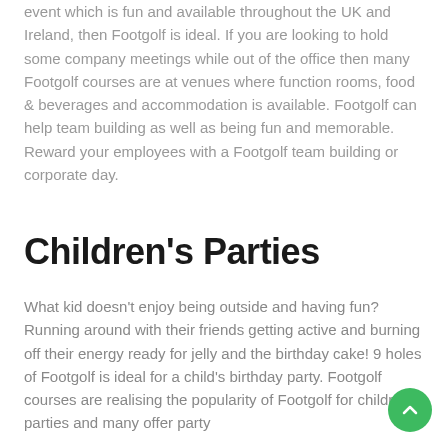event which is fun and available throughout the UK and Ireland, then Footgolf is ideal. If you are looking to hold some company meetings while out of the office then many Footgolf courses are at venues where function rooms, food & beverages and accommodation is available. Footgolf can help team building as well as being fun and memorable. Reward your employees with a Footgolf team building or corporate day.
Children's Parties
What kid doesn't enjoy being outside and having fun? Running around with their friends getting active and burning off their energy ready for jelly and the birthday cake! 9 holes of Footgolf is ideal for a child's birthday party. Footgolf courses are realising the popularity of Footgolf for children's parties and many offer party